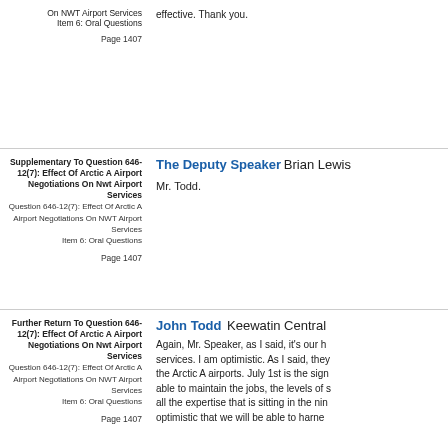On NWT Airport Services
Item 6: Oral Questions

Page 1407
effective. Thank you.
Supplementary To Question 646-12(7): Effect Of Arctic A Airport Negotiations On Nwt Airport Services
Question 646-12(7): Effect Of Arctic A Airport Negotiations On NWT Airport Services
Item 6: Oral Questions

Page 1407
The Deputy Speaker Brian Lewis

Mr. Todd.
Further Return To Question 646-12(7): Effect Of Arctic A Airport Negotiations On Nwt Airport Services
Question 646-12(7): Effect Of Arctic A Airport Negotiations On NWT Airport Services
Item 6: Oral Questions

Page 1407
John Todd  Keewatin Central

Again, Mr. Speaker, as I said, it's our ho services. I am optimistic. As I said, they the Arctic A airports. July 1st is the sign able to maintain the jobs, the levels of s all the expertise that is sitting in the nin optimistic that we will be able to harne